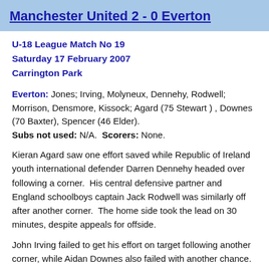Manchester United 2 - 0 Everton
U-18 League Match No 19
Saturday 17 February 2007
Carrington Park
Everton: Jones; Irving, Molyneux, Dennehy, Rodwell; Morrison, Densmore, Kissock; Agard (75 Stewart ), Downes (70 Baxter), Spencer (46 Elder). Subs not used: N/A. Scorers: None.
Kieran Agard saw one effort saved while Republic of Ireland youth international defender Darren Dennehy headed over following a corner. His central defensive partner and England schoolboys captain Jack Rodwell was similarly off after another corner. The home side took the lead on 30 minutes, despite appeals for offside.
John Irving failed to get his effort on target following another corner, while Aidan Downes also failed with another chance. Jose Baxter, on as a second-half substitute, almost set up a strike that almost threatened the ...